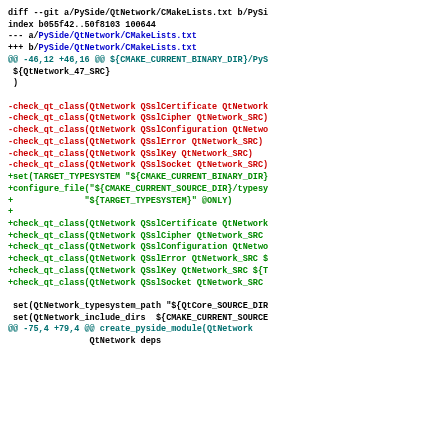diff --git a/PySide/QtNetwork/CMakeLists.txt b/PySi
index b055f42..50f8103 100644
--- a/PySide/QtNetwork/CMakeLists.txt
+++ b/PySide/QtNetwork/CMakeLists.txt
@@ -46,12 +46,16 @@ ${CMAKE_CURRENT_BINARY_DIR}/PyS
 ${QtNetwork_47_SRC}
 )

-check_qt_class(QtNetwork QSslCertificate QtNetwork
-check_qt_class(QtNetwork QSslCipher QtNetwork_SRC)
-check_qt_class(QtNetwork QSslConfiguration QtNetwo
-check_qt_class(QtNetwork QSslError QtNetwork_SRC)
-check_qt_class(QtNetwork QSslKey QtNetwork_SRC)
-check_qt_class(QtNetwork QSslSocket QtNetwork_SRC)
+set(TARGET_TYPESYSTEM "${CMAKE_CURRENT_BINARY_DIR}
+configure_file("${CMAKE_CURRENT_SOURCE_DIR}/typesy
+              "${TARGET_TYPESYSTEM}" @ONLY)
+
+check_qt_class(QtNetwork QSslCertificate QtNetwork
+check_qt_class(QtNetwork QSslCipher QtNetwork_SRC
+check_qt_class(QtNetwork QSslConfiguration QtNetwo
+check_qt_class(QtNetwork QSslError QtNetwork_SRC $
+check_qt_class(QtNetwork QSslKey QtNetwork_SRC ${T
+check_qt_class(QtNetwork QSslSocket QtNetwork_SRC

 set(QtNetwork_typesystem_path "${QtCore_SOURCE_DIR
 set(QtNetwork_include_dirs  ${CMAKE_CURRENT_SOURCE
@@ -75,4 +79,4 @@ create_pyside_module(QtNetwork
                QtNetwork deps